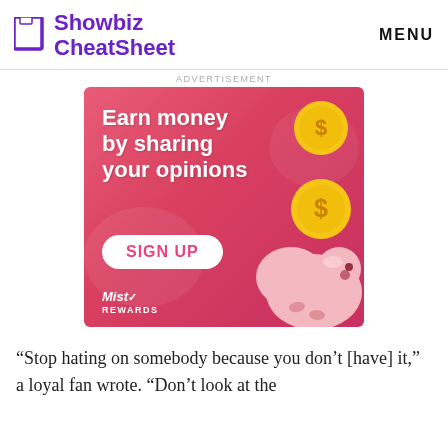Showbiz CheatSheet  MENU
ADVERTISEMENT
[Figure (illustration): Advertisement banner for Mist Rewards showing text 'Earn money by sharing your opinions', a SIGN UP button, coin graphics and a piggy bank illustration on a pink/red background.]
“Stop hating on somebody because you don’t [have] it,” a loyal fan wrote. “Don’t look at the